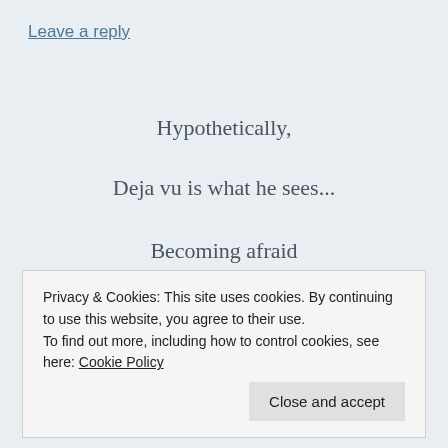Leave a reply
Hypothetically,
Deja vu is what he sees...
Becoming afraid
Of his “aide”,
Her unreliabilities
Privacy & Cookies: This site uses cookies. By continuing to use this website, you agree to their use.
To find out more, including how to control cookies, see here: Cookie Policy
Close and accept